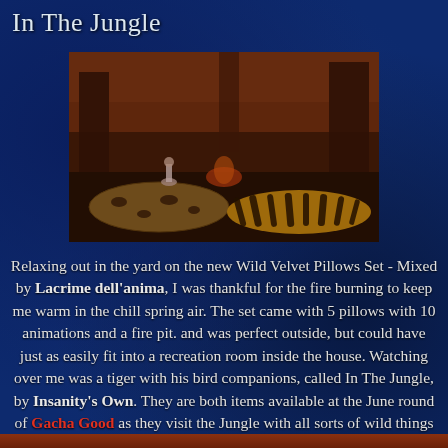In The Jungle
[Figure (photo): A virtual world scene showing animal-print pillow sets (leopard and tiger stripe) on the ground in a jungle setting with trees, a fire, and a small avatar figure in the background.]
Relaxing out in the yard on the new Wild Velvet Pillows Set - Mixed by Lacrime dell'anima, I was thankful for the fire burning to keep me warm in the chill spring air. The set came with 5 pillows with 10 animations and a fire pit. and was perfect outside, but could have just as easily fit into a recreation room inside the house. Watching over me was a tiger with his bird companions, called In The Jungle, by Insanity's Own. They are both items available at the June round of Gacha Good as they visit the Jungle with all sorts of wild things to be found.